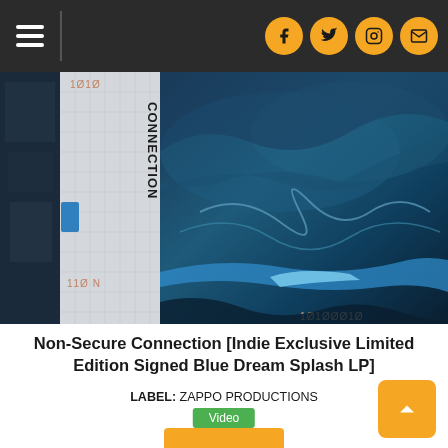Navigation bar with hamburger menu and social icons (Facebook, Twitter, Instagram, Email)
[Figure (photo): Album cover for Non-Secure Connection showing water/wave imagery with binary numbers and the word CONNECTION in vertical text on a grid background]
Non-Secure Connection [Indie Exclusive Limited Edition Signed Blue Dream Splash LP]
LABEL: ZAPPO PRODUCTIONS
Video
2020-08-14